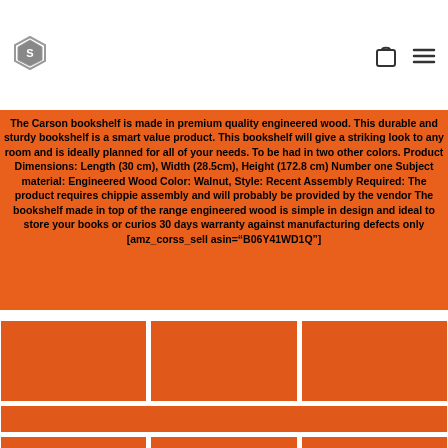[Logo icon] [Cart icon] [Menu icon]
The Carson bookshelf is made in premium quality engineered wood. This durable and sturdy bookshelf is a smart value product. This bookshelf will give a striking look to any room and is ideally planned for all of your needs. To be had in two other colors. Product Dimensions: Length (30 cm), Width (28.5cm), Height (172.8 cm) Number one Subject material: Engineered Wood Color: Walnut, Style: Recent Assembly Required: The product requires chippie assembly and will probably be provided by the vendor The bookshelf made in top of the range engineered wood is simple in design and ideal to store your books or curios 30 days warranty against manufacturing defects only [amz_corss_sell asin="B06Y41WD1Q"]
[Figure (photo): Grid of orange placeholder image tiles in three rows]
[Figure (photo): Wide single orange placeholder tile]
[Figure (photo): Bottom row of three orange placeholder image tiles]